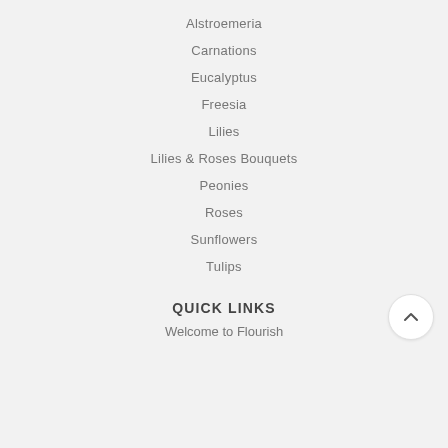Alstroemeria
Carnations
Eucalyptus
Freesia
Lilies
Lilies & Roses Bouquets
Peonies
Roses
Sunflowers
Tulips
QUICK LINKS
Welcome to Flourish